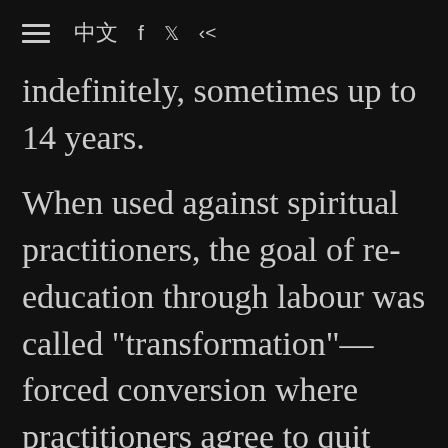≡ 中文 f 🐦 ⋮
indefinitely, sometimes up to 14 years.

When used against spiritual practitioners, the goal of re-education through labour was called "transformation"—forced conversion where practitioners agree to quit their faith and